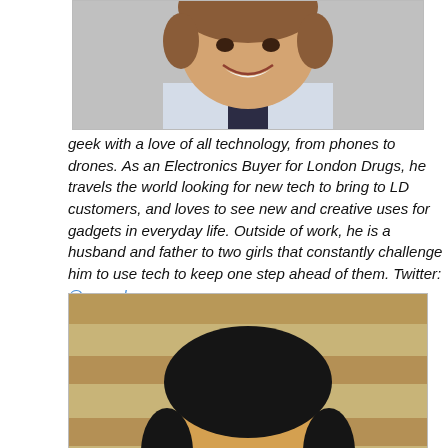[Figure (photo): Headshot of a smiling man in a shirt and tie, cropped at shoulders]
geek with a love of all technology, from phones to drones. As an Electronics Buyer for London Drugs, he travels the world looking for new tech to bring to LD customers, and loves to see new and creative uses for gadgets in everyday life. Outside of work, he is a husband and father to two girls that constantly challenge him to use tech to keep one step ahead of them. Twitter: @cav_ok
[Figure (photo): Headshot of a smiling Asian man in a dress shirt and tie, in front of a wood-paneled background]
Sam Ma is an avid photography enthusiast who enjoys playing sports, collecting wristwatches, and singing. He also loves to eat ramen noodles and just about anything soupy. Sam is a Patient Care Pharmacist who,